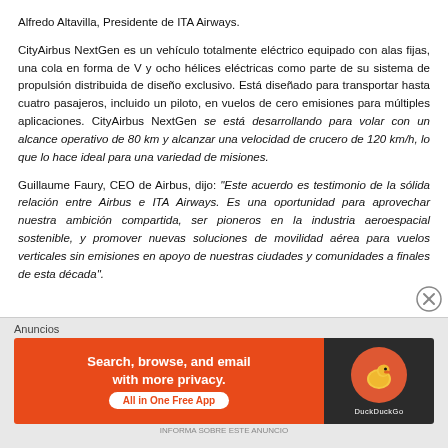Alfredo Altavilla, Presidente de ITA Airways.
CityAirbus NextGen es un vehículo totalmente eléctrico equipado con alas fijas, una cola en forma de V y ocho hélices eléctricas como parte de su sistema de propulsión distribuida de diseño exclusivo. Está diseñado para transportar hasta cuatro pasajeros, incluido un piloto, en vuelos de cero emisiones para múltiples aplicaciones. CityAirbus NextGen se está desarrollando para volar con un alcance operativo de 80 km y alcanzar una velocidad de crucero de 120 km/h, lo que lo hace ideal para una variedad de misiones.
Guillaume Faury, CEO de Airbus, dijo: "Este acuerdo es testimonio de la sólida relación entre Airbus e ITA Airways. Es una oportunidad para aprovechar nuestra ambición compartida, ser pioneros en la industria aeroespacial sostenible, y promover nuevas soluciones de movilidad aérea para vuelos verticales sin emisiones en apoyo de nuestras ciudades y comunidades a finales de esta década".
Anuncios
[Figure (screenshot): DuckDuckGo advertisement banner: orange background on left side with text 'Search, browse, and email with more privacy. All in One Free App', dark background on right with DuckDuckGo logo duck icon. 'INFORMA SOBRE ESTE ANUNCIO' footer text.]